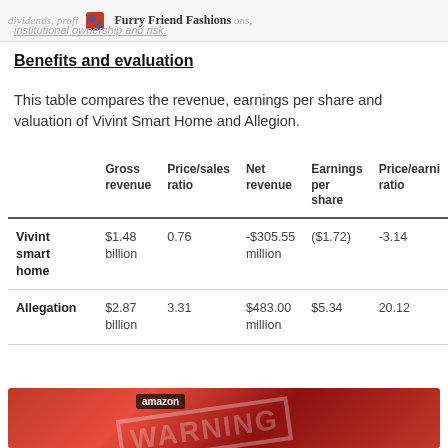dividends, profitability, Furry Friend Fashions, institutional ownership and risk.
Benefits and evaluation
This table compares the revenue, earnings per share and valuation of Vivint Smart Home and Allegion.
|  | Gross revenue | Price/sales ratio | Net revenue | Earnings per share | Price/earnings ratio |
| --- | --- | --- | --- | --- | --- |
| Vivint smart home | $1.48 billion | 0.76 | -$305.55 million | ($1.72) | -3.14 |
| Allegation | $2.87 billion | 3.31 | $483.00 million | $5.34 | 20.12 |
[Figure (photo): Amazon warning image with red background and warning stamp overlay]